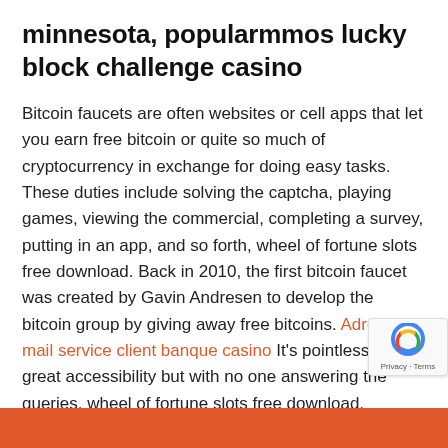minnesota, popularmmos lucky block challenge casino
Bitcoin faucets are often websites or cell apps that let you earn free bitcoin or quite so much of cryptocurrency in exchange for doing easy tasks. These duties include solving the captcha, playing games, viewing the commercial, completing a survey, putting in an app, and so forth, wheel of fortune slots free download. Back in 2010, the first bitcoin faucet was created by Gavin Andresen to develop the bitcoin group by giving away free bitcoins. Adresse mail service client banque casino It’s pointless having great accessibility but with no one answering the queries, wheel of fortune slots free download.
New customers only, First 3 deposits only, Min d… 10, Max bonus ?500 +50 spins on starburst, Selected…